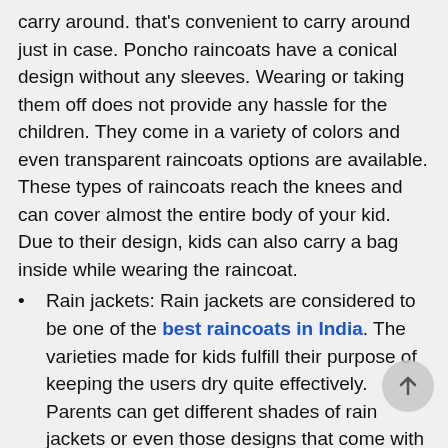carry around. that's convenient to carry around just in case. Poncho raincoats have a conical design without any sleeves. Wearing or taking them off does not provide any hassle for the children. They come in a variety of colors and even transparent raincoats options are available. These types of raincoats reach the knees and can cover almost the entire body of your kid. Due to their design, kids can also carry a bag inside while wearing the raincoat.
Rain jackets: Rain jackets are considered to be one of the best raincoats in India. The varieties made for kids fulfill their purpose of keeping the users dry quite effectively. Parents can get different shades of rain jackets or even those designs that come with transparent raincoat options. A rain jacket comes with